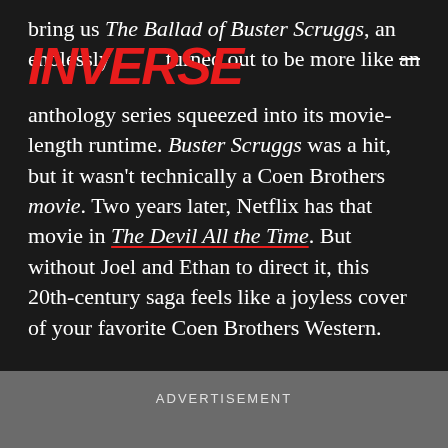INVERSE
bring us The Ballad of Buster Scruggs, an endlessly watchable film that turned out to be more like an anthology series squeezed into its movie-length runtime. Buster Scruggs was a hit, but it wasn't technically a Coen Brothers movie. Two years later, Netflix has that movie in The Devil All the Time. But without Joel and Ethan to direct it, this 20th-century saga feels like a joyless cover of your favorite Coen Brothers Western.
ADVERTISEMENT